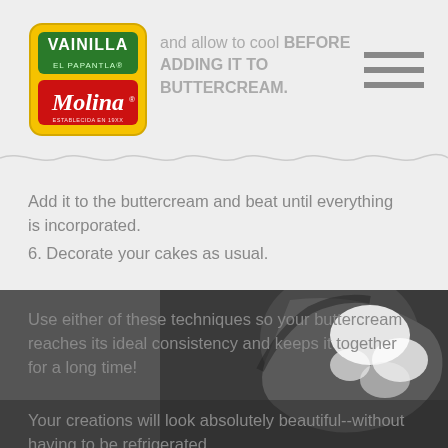[Figure (logo): Vainilla El Papantla Molina logo with green and red branding on yellow background]
and allow to cool BEFORE ADDING IT TO BUTTERCREAM.
Add it to the buttercream and beat until everything is incorporated.
6. Decorate your cakes as usual.
Use either of these techniques so your buttercream reaches its ideal consistency and keeps it together for a long time!
Your creations will look absolutely beautiful--without having to be refrigerated.
[Figure (photo): Dark moody photo of a bowl with white buttercream/cream being mixed, dark background]